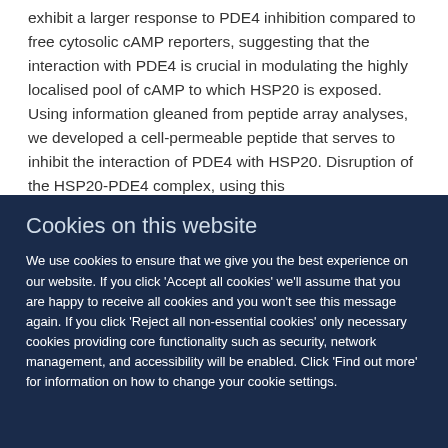exhibit a larger response to PDE4 inhibition compared to free cytosolic cAMP reporters, suggesting that the interaction with PDE4 is crucial in modulating the highly localised pool of cAMP to which HSP20 is exposed. Using information gleaned from peptide array analyses, we developed a cell-permeable peptide that serves to inhibit the interaction of PDE4 with HSP20. Disruption of the HSP20-PDE4 complex, using this
Cookies on this website
We use cookies to ensure that we give you the best experience on our website. If you click 'Accept all cookies' we'll assume that you are happy to receive all cookies and you won't see this message again. If you click 'Reject all non-essential cookies' only necessary cookies providing core functionality such as security, network management, and accessibility will be enabled. Click 'Find out more' for information on how to change your cookie settings.